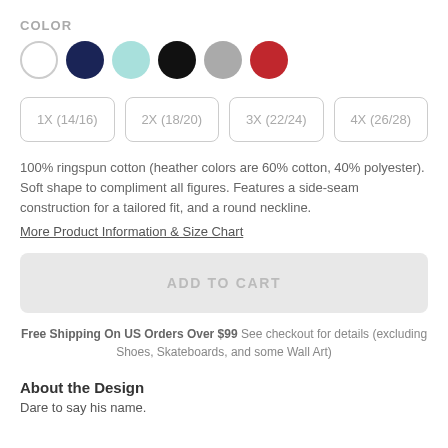COLOR
[Figure (other): Six color swatches: white, navy, mint/teal, black, gray, red]
[Figure (other): Four size option buttons: 1X (14/16), 2X (18/20), 3X (22/24), 4X (26/28)]
100% ringspun cotton (heather colors are 60% cotton, 40% polyester). Soft shape to compliment all figures. Features a side-seam construction for a tailored fit, and a round neckline.
More Product Information & Size Chart
[Figure (other): ADD TO CART button (grayed out/disabled state)]
Free Shipping On US Orders Over $99 See checkout for details (excluding Shoes, Skateboards, and some Wall Art)
About the Design
Dare to say his name.